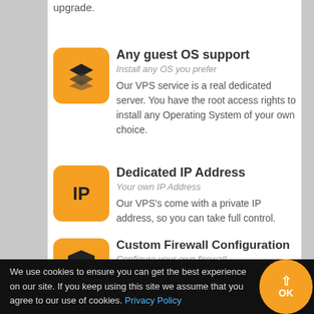upgrade.
Any guest OS support
Install any OS you prefer
Our VPS service is a real dedicated server. You have the root access rights to install any Operating System of your own choice.
Dedicated IP Address
Your own IP Address
Our VPS's come with a private IP address, so you can take full control.
Custom Firewall Configuration
Configure your own firewall
Our VPS service is a real dedicated
We use cookies to ensure you can get the best experience on our site. If you keep using this site we assume that you agree to our use of cookies. Privacy Policy